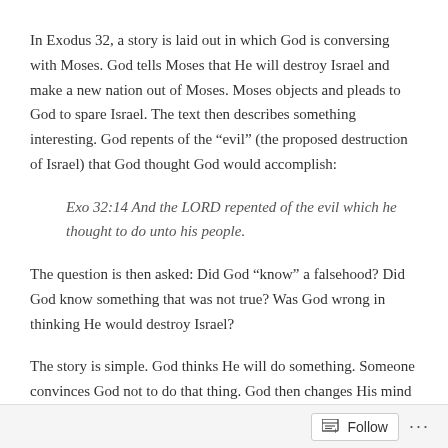In Exodus 32, a story is laid out in which God is conversing with Moses. God tells Moses that He will destroy Israel and make a new nation out of Moses. Moses objects and pleads to God to spare Israel. The text then describes something interesting. God repents of the “evil” (the proposed destruction of Israel) that God thought God would accomplish:
Exo 32:14 And the LORD repented of the evil which he thought to do unto his people.
The question is then asked: Did God “know” a falsehood? Did God know something that was not true? Was God wrong in thinking He would destroy Israel?
The story is simple. God thinks He will do something. Someone convinces God not to do that thing. God then changes His mind and does not do what He thought He was going to do. Normal human